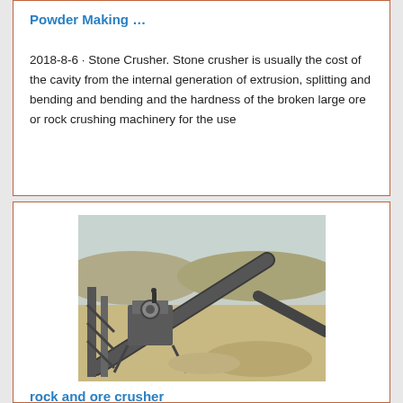Powder Making …
2018-8-6 · Stone Crusher. Stone crusher is usually the cost of the cavity from the internal generation of extrusion, splitting and bending and bending and the hardness of the broken large ore or rock crushing machinery for the use
[Figure (photo): Outdoor rock/ore crushing and conveying machinery at a quarry site, showing conveyor belts, crushers, and sandy/rocky terrain in the background.]
rock and ore crusher